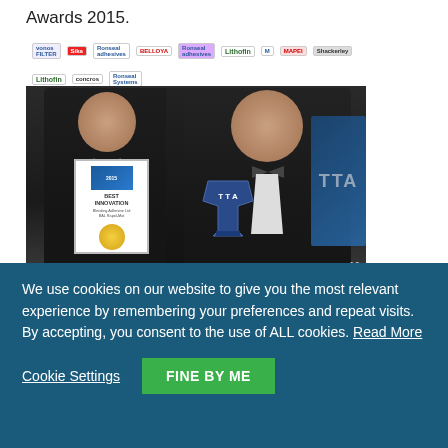Awards 2015.
[Figure (photo): Two men in tuxedos at an awards ceremony, holding a 'Best Innovation' award plaque and a TTA trophy, standing in front of a sponsor banner wall with logos including MAPEI, Lithofin, Shackerley, Ronseal, and others.]
One of the most significant innovations in the uncoupling mat market for more than 15 years, the BAL Rapid-Mat is a new solution to
We use cookies on our website to give you the most relevant experience by remembering your preferences and repeat visits. By accepting, you consent to the use of ALL cookies. Read More
Cookie Settings
FINE BY ME